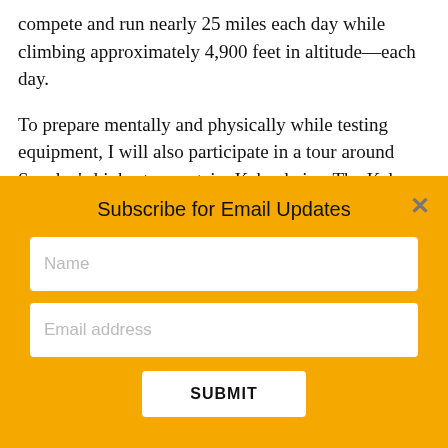compete and run nearly 25 miles each day while climbing approximately 4,900 feet in altitude—each day.
To prepare mentally and physically while testing equipment, I will also participate in a tour around Sweden's highest mountain, Kebnekaise. The Keb Classic Summer contest
Subscribe for Email Updates
Name (input field)
Email address (input field)
SUBMIT (button)